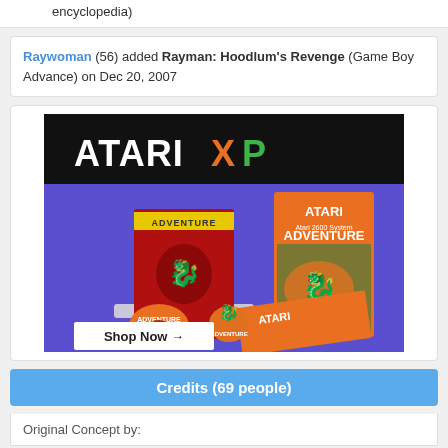encyclopedia)
Raywoman (56) added Rayman: Hoodlum's Revenge (Game Boy Advance) on Dec 20, 2007
[Figure (photo): Atari XP advertisement showing Adventure game collector's edition with box, cartridge stand, stickers, and manual. Includes 'Shop Now →' button.]
Credits (69 people)
Original Concept by: